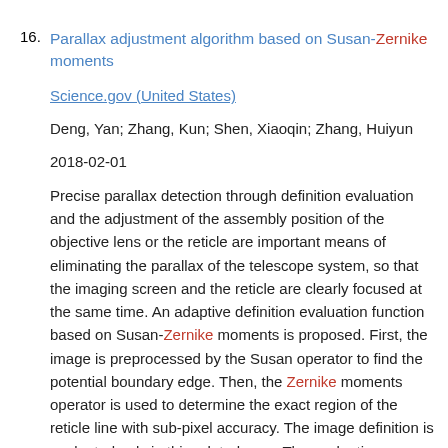16. Parallax adjustment algorithm based on Susan-Zernike moments
Science.gov (United States)
Deng, Yan; Zhang, Kun; Shen, Xiaoqin; Zhang, Huiyun
2018-02-01
Precise parallax detection through definition evaluation and the adjustment of the assembly position of the objective lens or the reticle are important means of eliminating the parallax of the telescope system, so that the imaging screen and the reticle are clearly focused at the same time. An adaptive definition evaluation function based on Susan-Zernike moments is proposed. First, the image is preprocessed by the Susan operator to find the potential boundary edge. Then, the Zernike moments operator is used to determine the exact region of the reticle line with sub-pixel accuracy. The image definition is evaluated only in this related area. The evaluation function consists of the gradient difference calculated by the Zernike moments operator. By adjusting the assembly position of the objective lens, the imaging screen and the reticle will be